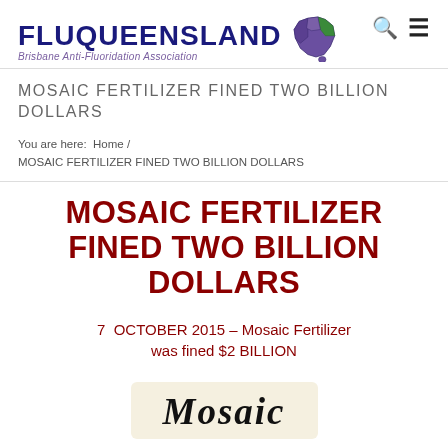FLUQUEENSLAND — Brisbane Anti-Fluoridation Association
MOSAIC FERTILIZER FINED TWO BILLION DOLLARS
You are here: Home / MOSAIC FERTILIZER FINED TWO BILLION DOLLARS
MOSAIC FERTILIZER FINED TWO BILLION DOLLARS
7 OCTOBER 2015 – Mosaic Fertilizer was fined $2 BILLION
[Figure (logo): Mosaic company logo in italic serif font on a cream background]